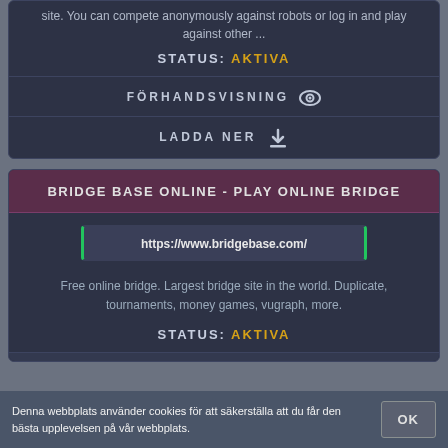site. You can compete anonymously against robots or log in and play against other ...
STATUS: AKTIVA
FÖRHANDSVISNING
LADDA NER
BRIDGE BASE ONLINE - PLAY ONLINE BRIDGE
https://www.bridgebase.com/
Free online bridge. Largest bridge site in the world. Duplicate, tournaments, money games, vugraph, more.
STATUS: AKTIVA
Denna webbplats använder cookies för att säkerställa att du får den bästa upplevelsen på vår webbplats.